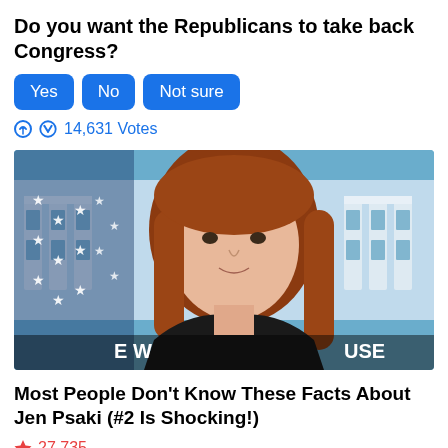Do you want the Republicans to take back Congress?
Yes
No
Not sure
14,631 Votes
[Figure (photo): Woman with auburn/red hair speaking at a podium in front of the White House briefing room backdrop. An American flag is visible on the left. The partially visible text 'E W...SE' appears at the bottom of the image, referencing the White House.]
Most People Don't Know These Facts About Jen Psaki (#2 Is Shocking!)
27,735